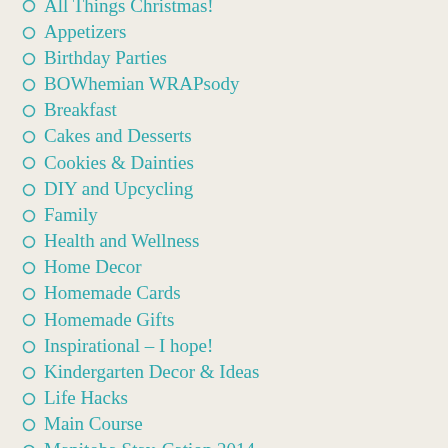All Things Christmas!
Appetizers
Birthday Parties
BOWhemian WRAPsody
Breakfast
Cakes and Desserts
Cookies & Dainties
DIY and Upcycling
Family
Health and Wellness
Home Decor
Homemade Cards
Homemade Gifts
Inspirational – I hope!
Kindergarten Decor & Ideas
Life Hacks
Main Course
Manitoba Stay-Cation 2014
Muffins & Loaves
Mystery Box Riddles
Organization